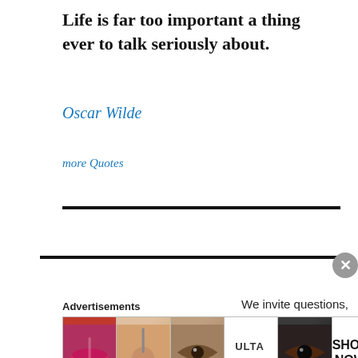Life is far too important a thing ever to talk seriously about.
Oscar Wilde
more Quotes
We invite questions, article ideas! Email to mdharrisinstitute@gr
Advertisements